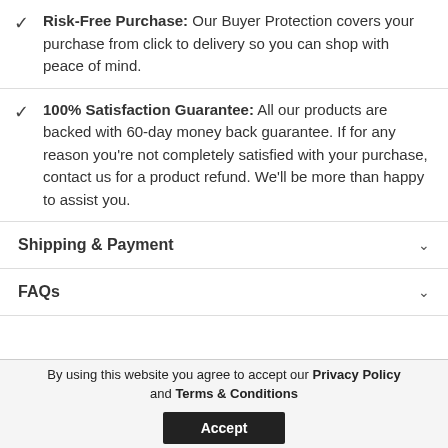Risk-Free Purchase: Our Buyer Protection covers your purchase from click to delivery so you can shop with peace of mind.
100% Satisfaction Guarantee: All our products are backed with 60-day money back guarantee. If for any reason you're not completely satisfied with your purchase, contact us for a product refund. We'll be more than happy to assist you.
Shipping & Payment
FAQs
By using this website you agree to accept our Privacy Policy and Terms & Conditions